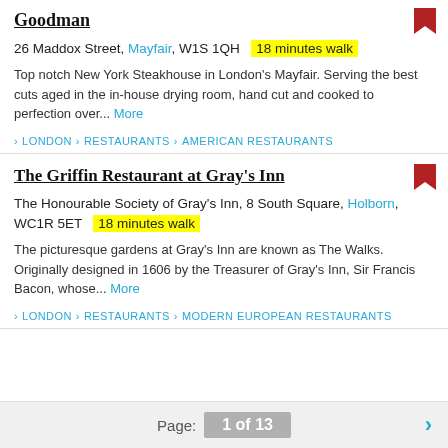Goodman
26 Maddox Street, Mayfair, W1S 1QH  18 minutes walk
Top notch New York Steakhouse in London's Mayfair. Serving the best cuts aged in the in-house drying room, hand cut and cooked to perfection over... More
> LONDON > RESTAURANTS > AMERICAN RESTAURANTS
The Griffin Restaurant at Gray's Inn
The Honourable Society of Gray's Inn, 8 South Square, Holborn, WC1R 5ET  18 minutes walk
The picturesque gardens at Gray's Inn are known as The Walks. Originally designed in 1606 by the Treasurer of Gray's Inn, Sir Francis Bacon, whose... More
> LONDON > RESTAURANTS > MODERN EUROPEAN RESTAURANTS
Page: 1 of 13